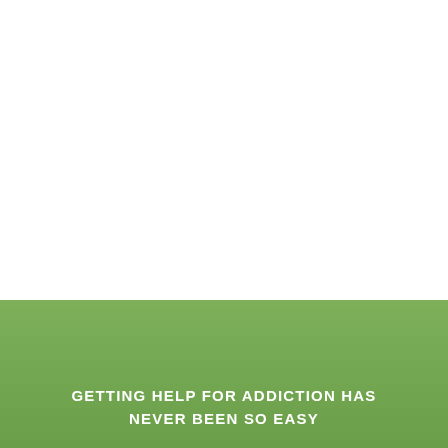[Figure (photo): White background area occupying the upper two-thirds of the page, possibly a faded or blank image area.]
[Figure (photo): Green gradient background panel in the lower portion of the page, with a faint landscape/horizon texture visible.]
GETTING HELP FOR ADDICTION HAS NEVER BEEN SO EASY